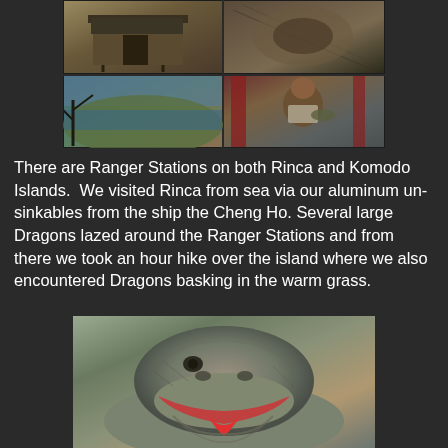[Figure (photo): Collage of four photos: top-left shows a ranger station building with sign, top-right shows a Komodo dragon or similar creature close-up, bottom-left shows a scenic landscape with water/bay and trees, bottom-right shows a man (ranger) sitting with a small dragon on his arm]
There are Ranger Stations on both Rinca and Komodo Islands.  We visited Rinca from sea via our aluminum unsinkables from the ship the Cheng Ho. Several large Dragons lazed around the Ranger Stations and from there we took an hour hike over the island where we also encountered Dragons basking in the warm grass.
[Figure (photo): Close-up photograph of a Komodo dragon face with mouth open, showing red forked tongue, scaly grey-brown skin, looking directly at camera]